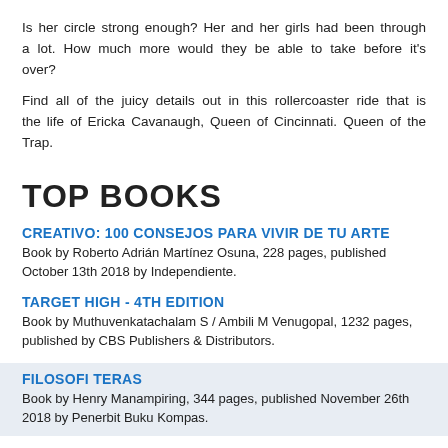Is her circle strong enough? Her and her girls had been through a lot. How much more would they be able to take before it's over?
Find all of the juicy details out in this rollercoaster ride that is the life of Ericka Cavanaugh, Queen of Cincinnati. Queen of the Trap.
TOP BOOKS
CREATIVO: 100 CONSEJOS PARA VIVIR DE TU ARTE
Book by Roberto Adrián Martínez Osuna, 228 pages, published October 13th 2018 by Independiente.
TARGET HIGH - 4TH EDITION
Book by Muthuvenkatachalam S / Ambili M Venugopal, 1232 pages, published by CBS Publishers & Distributors.
FILOSOFI TERAS
Book by Henry Manampiring, 344 pages, published November 26th 2018 by Penerbit Buku Kompas.